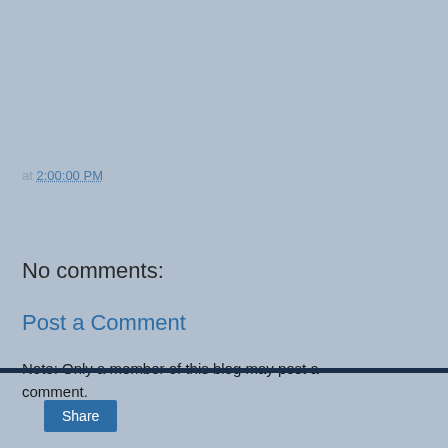at 2:00:00 PM
Share
No comments:
Post a Comment
Note: Only a member of this blog may post a comment.
< Home > View web version